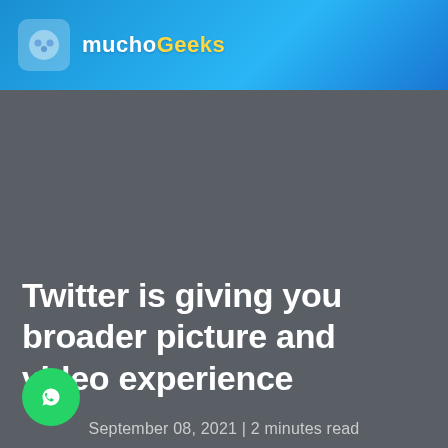muchobit
Twitter is giving you broader picture and video experience
September 08, 2021 | 2 minutes read
[Figure (logo): WhatsApp share button — green circle with white speech bubble phone icon]